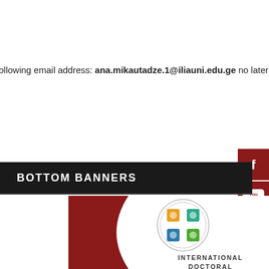ollowing email address: ana.mikautadze.1@iliauni.edu.ge no later than
BOTTOM BANNERS
[Figure (logo): International Doctoral School logo with circular emblem and colored quadrant icons, text reads INTERNATIONAL DOCTORAL SCHOOL]
[Figure (infographic): Social media sidebar with Facebook, YouTube, and Twitter icons on dark red background]